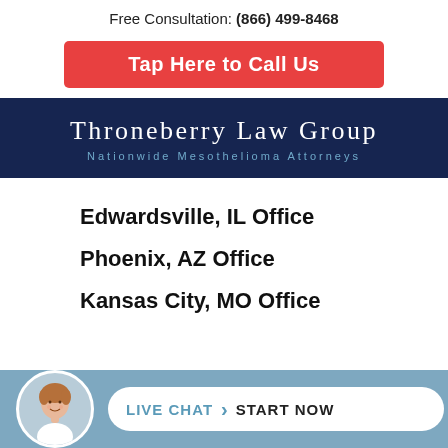Free Consultation: (866) 499-8468
Tap Here to Call Us
[Figure (logo): Throneberry Law Group – Nationwide Mesothelioma Attorneys logo on dark navy background]
Edwardsville, IL Office
Phoenix, AZ Office
Kansas City, MO Office
[Figure (infographic): Live Chat – Start Now button with female avatar photo in circular frame on blue bar at bottom of page]